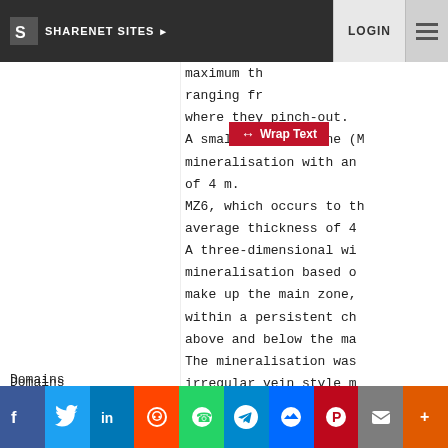SHARENET SITES | LOGIN
maximum th...
ranging fr...
where they pinch-out.
A small, narrow zone (M...
mineralisation with an...
of 4 m.
MZ6, which occurs to th...
average thickness of 4...
A three-dimensional wi...
mineralisation based o...
make up the main zone,...
within a persistent ch...
above and below the ma...
Domains
The mineralisation was...
irregular vein style m...
for estimation in orde...
Compositing
Statistics and variography
Sample lengths were co...
Statistics for the sev...
positively skewed with...
f | Twitter | in | Reddit | WhatsApp | Telegram | Messenger | Pinterest | Email | +